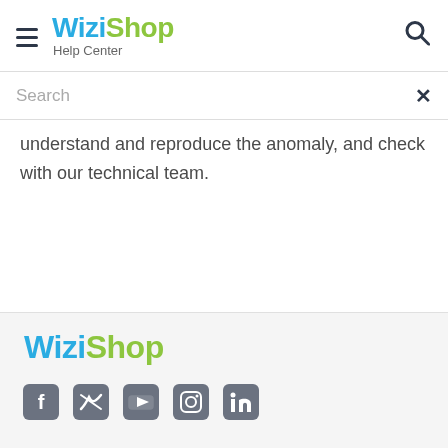WiziShop Help Center
Search
understand and reproduce the anomaly, and check with our technical team.
WiziShop
[Figure (logo): Social media icons: Facebook, Twitter, YouTube, Instagram, LinkedIn]